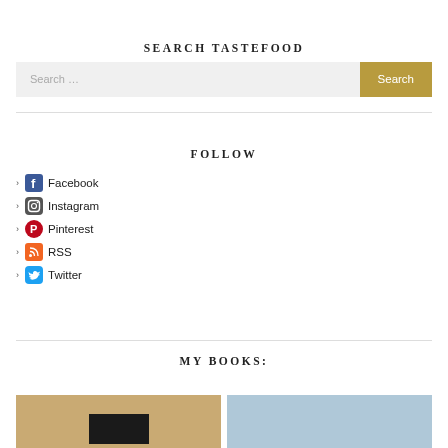SEARCH TASTEFOOD
Search ...
FOLLOW
Facebook
Instagram
Pinterest
RSS
Twitter
MY BOOKS:
[Figure (photo): Two book cover thumbnails side by side — left one has a warm golden/tan background with a dark element, right one has a light blue background]